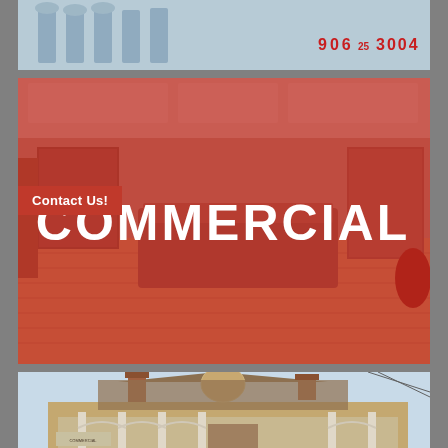[Figure (photo): Top photo showing building exterior or interior with blue/grey tones and numbers 906 and 3004 visible in red]
[Figure (photo): Commercial office interior photo with red overlay tint, showing open plan office space with wooden floors and reception desk. Text 'COMMERCIAL' overlaid in large white bold letters. 'Contact Us!' badge in red on the left side.]
[Figure (photo): Bottom photo showing exterior of a historic Victorian-style house with brick chimneys, ornate gable decoration, covered porch with arched columns, and a sign near the entrance]